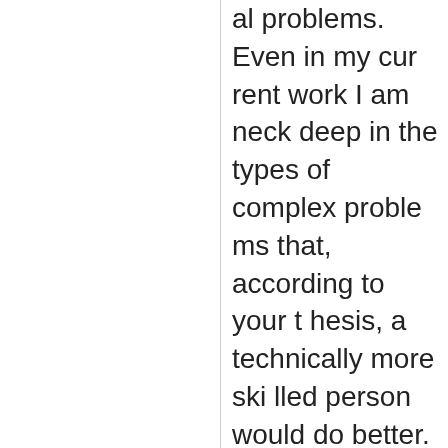al problems. Even in my current work I am neck deep in the types of complex problems that, according to your thesis, a technically more skilled person would do better. Tough sell indeed, when I would argue that they would suffer terribly at it. In fact, as recently as this month I had written a policy piece complaining of the fact that there were too many scientists and engineers involved in our policy problem, causing all kinds of havoc. In the end, your thesis is not as self evident as you seem to believe it to be, requiring a stronger a